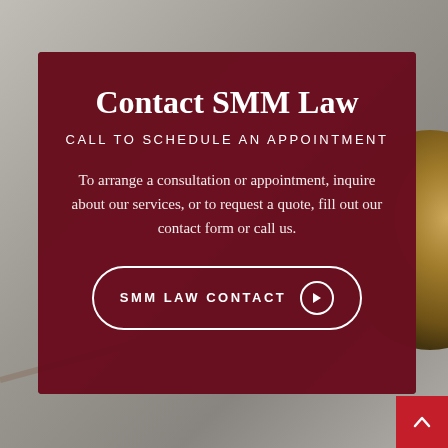[Figure (photo): Background photo of a judge's gavel on a gray surface with a gold/brass gavel head visible on the right side]
Contact SMM Law
CALL TO SCHEDULE AN APPOINTMENT
To arrange a consultation or appointment, inquire about our services, or to request a quote, fill out our contact form or call us.
SMM LAW CONTACT →